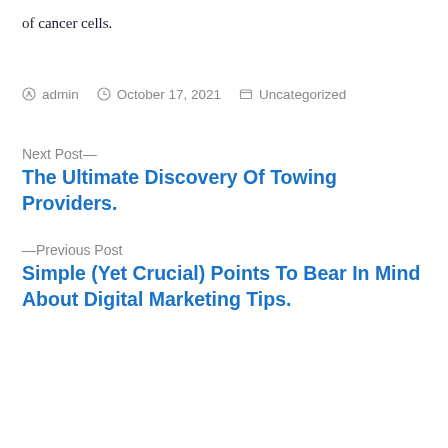of cancer cells.
by admin  October 17, 2021  Uncategorized
Next Post—
The Ultimate Discovery Of Towing Providers.
—Previous Post
Simple (Yet Crucial) Points To Bear In Mind About Digital Marketing Tips.